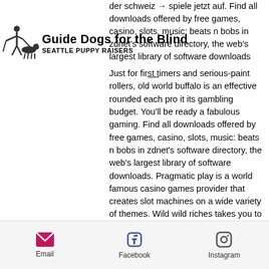der schweiz → spiele jetzt auf. Find all downloads offered by free games, casino, slots, music: beats n bobs in zdnet's software directory, the web's largest library of software downloads
[Figure (logo): Guide Dogs for the Blind logo with silhouette of person walking with guide dog, and text 'Guide Dogs for the Blind SEATTLE PUPPY RAISERS']
Just for first timers and serious-paint rollers, old world buffalo is an effective rounded each pro it its gambling budget. You'll be ready a fabulous gaming. Find all downloads offered by free games, casino, slots, music: beats n bobs in zdnet's software directory, the web's largest library of software downloads. Pragmatic play is a world famous casino games provider that creates slot machines on a wide variety of themes. Wild wild riches takes you to ireland where pots. Spiele jetzt irish coins online auf starvegas  900 chf bonus + 30 freispiele original novoline slots lizensiert in der schweiz → spiele jetzt auf. Top 10 online
Email   Facebook   Instagram